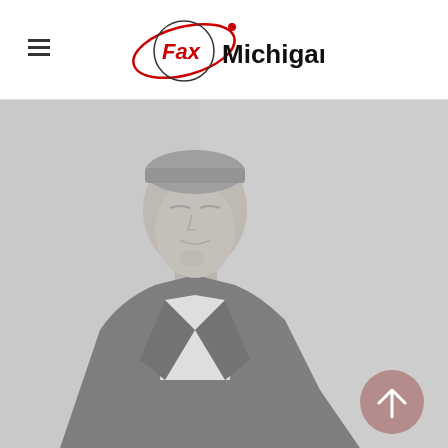[Figure (logo): Fax Michigan logo with red circular orbit graphic around the text Fax in red and Michigan in black bold letters]
[Figure (photo): A person in a dark suit looking upward thoughtfully with hand near chin, over a muted grey background]